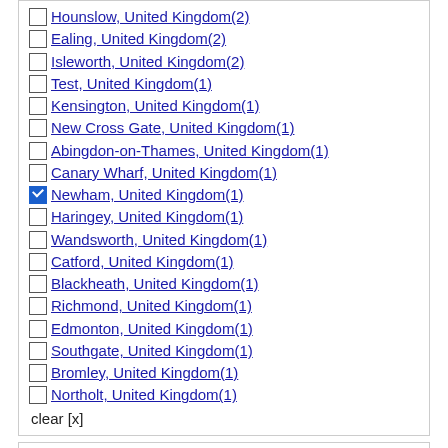Hounslow, United Kingdom(2)
Ealing, United Kingdom(2)
Isleworth, United Kingdom(2)
Test, United Kingdom(1)
Kensington, United Kingdom(1)
New Cross Gate, United Kingdom(1)
Abingdon-on-Thames, United Kingdom(1)
Canary Wharf, United Kingdom(1)
Newham, United Kingdom(1) [checked]
Haringey, United Kingdom(1)
Wandsworth, United Kingdom(1)
Catford, United Kingdom(1)
Blackheath, United Kingdom(1)
Richmond, United Kingdom(1)
Edmonton, United Kingdom(1)
Southgate, United Kingdom(1)
Bromley, United Kingdom(1)
Northolt, United Kingdom(1)
clear [x]
Facilities
24 hour security(0)
24h reception(0)